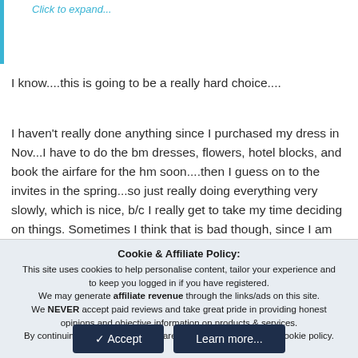Click to expand...
I know....this is going to be a really hard choice....
I haven't really done anything since I purchased my dress in Nov...I have to do the bm dresses, flowers, hotel blocks, and book the airfare for the hm soon....then I guess on to the invites in the spring...so just really doing everything very slowly, which is nice, b/c I really get to take my time deciding on things. Sometimes I think that is bad though, since I am the queen of indecision!!! 🙂
Cookie & Affiliate Policy: This site uses cookies to help personalise content, tailor your experience and to keep you logged in if you have registered. We may generate affiliate revenue through the links/ads on this site. We NEVER accept paid reviews and take great pride in providing honest opinions and objective information on products & services. By continuing to use this site, you are consenting to our use of cookie policy.
Accept
Learn more...